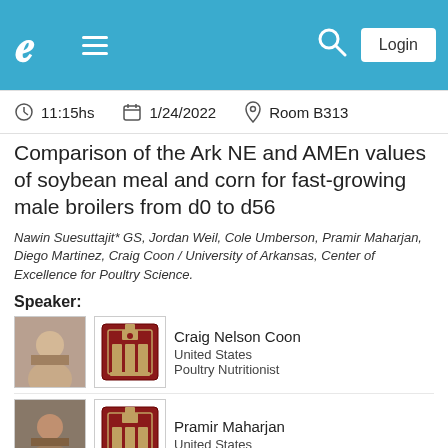[Figure (screenshot): Navigation bar with logo, hamburger menu, search icon, and Login button on blue background]
11:15hs   1/24/2022   Room B313
Comparison of the Ark NE and AMEn values of soybean meal and corn for fast-growing male broilers from d0 to d56
Nawin Suesuttajit* GS, Jordan Weil, Cole Umberson, Pramir Maharjan, Diego Martinez, Craig Coon / University of Arkansas, Center of Excellence for Poultry Science.
Speaker:
Craig Nelson Coon
United States
Poultry Nutritionist
Pramir Maharjan
United States
Diego Martinez
United States